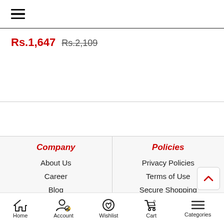Hamburger menu icon
Rs.1,647  Rs.2,109
Company
About Us
Career
Blog
Contact Us

Policies
Privacy Policies
Terms of Use
Secure Shopping
Copyright Policy
Home  Account  Wishlist  Cart  Categories